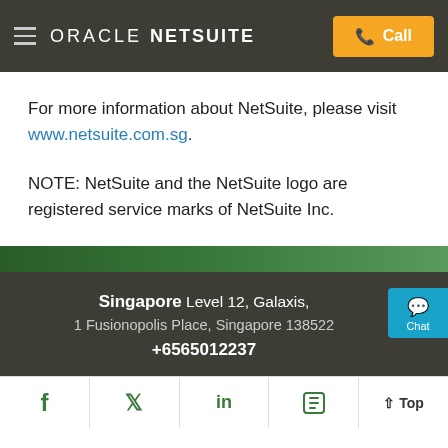ORACLE NETSUITE | Call
For more information about NetSuite, please visit www.netsuite.com.sg.
NOTE: NetSuite and the NetSuite logo are registered service marks of NetSuite Inc.
Singapore Level 12, Galaxis, 1 Fusionopolis Place, Singapore 138522 +6565012237
f | Twitter | in | Flipboard | ↑ Top